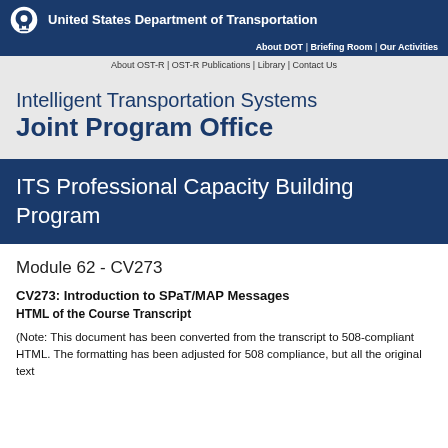United States Department of Transportation
About DOT | Briefing Room | Our Activities
About OST-R | OST-R Publications | Library | Contact Us
Intelligent Transportation Systems Joint Program Office
ITS Professional Capacity Building Program
Module 62 - CV273
CV273: Introduction to SPaT/MAP Messages
HTML of the Course Transcript
(Note: This document has been converted from the transcript to 508-compliant HTML. The formatting has been adjusted for 508 compliance, but all the original text content is included.)